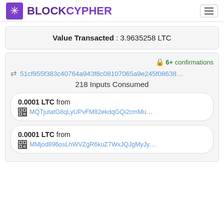BLOCKCYPHER
Value Transacted : 3.9635258 LTC
6+ confirmations
51cf955f383c40764a943f8c08107065a9e245f08638…
218 Inputs Consumed
0.0001 LTC from MQTjutatG8qLyUPvFM82ekdqGQi2cmMu…
0.0001 LTC from MMjod896osLhWVZgR6kuZ7WxJQJgMyJy…